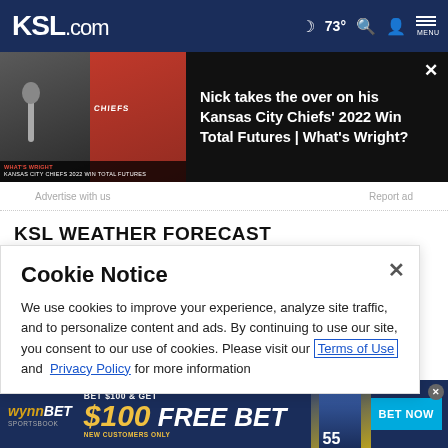KSL.com  🌙 73° 🔍 👤 MENU
[Figure (screenshot): Video promo thumbnail showing two people (one at a microphone, one in red Chiefs jersey) with title: Nick takes the over on his Kansas City Chiefs' 2022 Win Total Futures | What's Wright?]
Nick takes the over on his Kansas City Chiefs' 2022 Win Total Futures | What's Wright?
Advertise with us   Report ad
KSL WEATHER FORECAST
Cookie Notice
We use cookies to improve your experience, analyze site traffic, and to personalize content and ads. By continuing to use our site, you consent to our use of cookies. Please visit our Terms of Use and Privacy Policy for more information
wynnBET SPORTSBOOK — BET $100 & GET $100 FREE BET — NEW CUSTOMERS ONLY — BET NOW